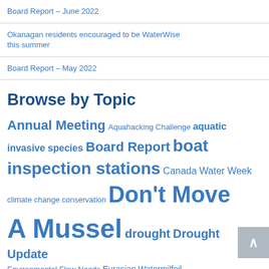Board Report – June 2022
Okanagan residents encouraged to be WaterWise this summer
Board Report – May 2022
Browse by Topic
Annual Meeting Aquahacking Challenge aquatic invasive species Board Report boat inspection stations Canada Water Week climate change conservation Don't Move A Mussel drought Drought Update Environmental Flow Needs Eurasian Watermilfoil flooding Grants Make